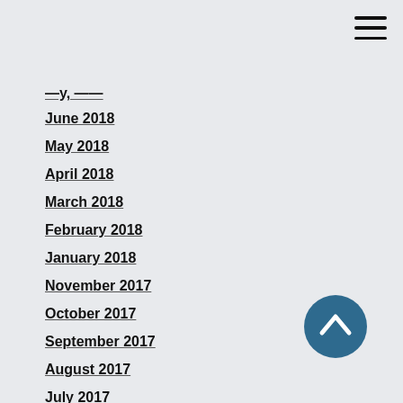June 2018
May 2018
April 2018
March 2018
February 2018
January 2018
November 2017
October 2017
September 2017
August 2017
July 2017
June 2017
January 2017
December 2014
August 2012
October 2011